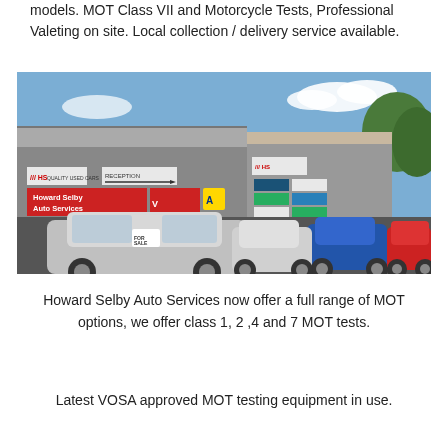models. MOT Class VII and Motorcycle Tests, Professional Valeting on site. Local collection / delivery service available.
[Figure (photo): Exterior photograph of Howard Selby Auto Services garage and used car forecourt, showing the building facade with signage 'HS Quality Used Cars', 'Reception', 'Howard Selby Auto Services', and several cars parked in the forecourt including a silver estate car in the foreground.]
Howard Selby Auto Services now offer a full range of MOT options, we offer class 1, 2 ,4 and 7 MOT tests.
Latest VOSA approved MOT testing equipment in use.